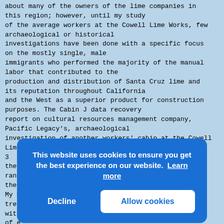about many of the owners of the lime companies in this region; however, until my study of the average workers at the Cowell Lime Works, few archaeological or historical investigations have been done with a specific focus on the mostly single, male immigrants who performed the majority of the manual labor that contributed to the production and distribution of Santa Cruz lime and its reputation throughout California and the West as a superior product for construction purposes. The Cabin J data recovery report on cultural resources management company, Pacific Legacy's, archaeological investigation of another workers' cabin at the Cowell Lime Works, touches on some of
3
these topics, but does not include the detail and range of information contained in this thesis (Reese 2007).
My work is part of a historical and anthropological tren[...] with[...] of e[...] and the [...] left[...] info[...] grou[...] Tran[...] docu[...] diff[...] lime workers. My research brings out information not
[Figure (screenshot): Cookie consent banner with blue background. Message: 'This website uses cookies to ensure you get the best experience on our website. Learn more'. Two buttons: 'Decline' (left, blue outline style) and 'Allow cookies' (right, white background with blue text).]